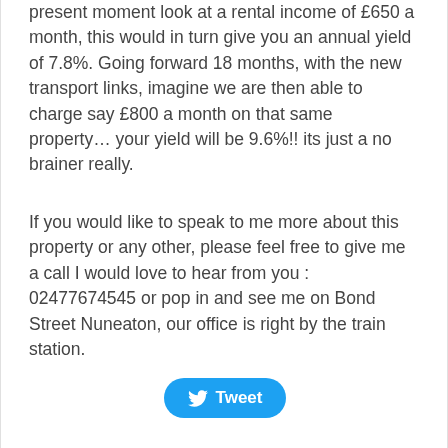present moment look at a rental income of £650 a month, this would in turn give you an annual yield of 7.8%. Going forward 18 months, with the new transport links, imagine we are then able to charge say £800 a month on that same property… your yield will be 9.6%!! its just a no brainer really.
If you would like to speak to me more about this property or any other, please feel free to give me a call I would love to hear from you : 02477674545 or pop in and see me on Bond Street Nuneaton, our office is right by the train station.
[Figure (other): Tweet button (Twitter share button with bird icon)]